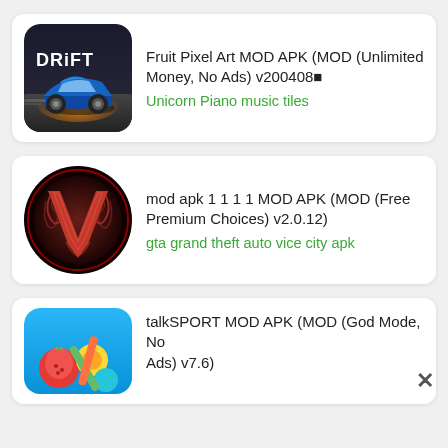[Figure (screenshot): App icon for a drift car racing game — shows a blue sports car drifting with 'DRIFT' text, dark background with motion blur effects]
Fruit Pixel Art MOD APK (MOD (Unlimited Money, No Ads) v200408■
Unicorn Piano music tiles
[Figure (screenshot): App icon featuring a stylized red letter V with ornate swirling patterns on a dark circular background]
mod apk 1 1 1 1 MOD APK (MOD (Free Premium Choices) v2.0.12)
gta grand theft auto vice city apk
[Figure (screenshot): App icon showing colorful fruit/candy game elements on a blue background — partially visible]
talkSPORT MOD APK (MOD (God Mode, No Ads) v7.6)